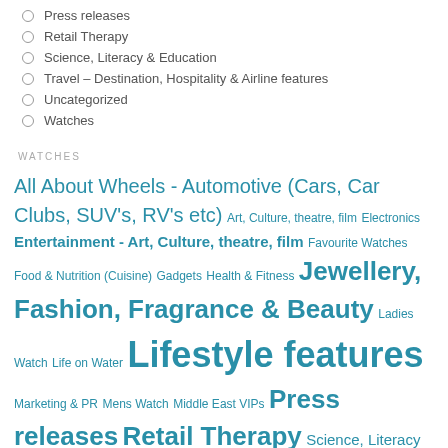Press releases
Retail Therapy
Science, Literacy & Education
Travel – Destination, Hospitality & Airline features
Uncategorized
Watches
WATCHES
All About Wheels - Automotive (Cars, Car Clubs, SUV's, RV's etc) Art, Culture, theatre, film Electronics Entertainment - Art, Culture, theatre, film Favourite Watches Food & Nutrition (Cuisine) Gadgets Health & Fitness Jewellery, Fashion, Fragrance & Beauty Ladies Watch Life on Water Lifestyle features Marketing & PR Mens Watch Middle East VIPs Press releases Retail Therapy Science, Literacy & Education Travel - Destination, Hospitality & Airline features Uncategorized Watches